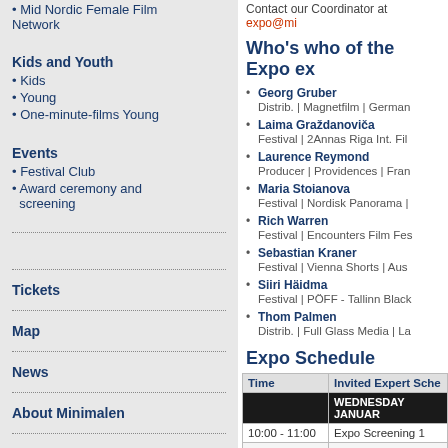• Mid Nordic Female Film Network
Kids and Youth
• Kids
• Young
• One-minute-films Young
Events
• Festival Club
• Award ceremony and screening
Tickets
Map
News
About Minimalen
Next Call for entries
Contact our Coordinator at expo@mi...
Who's who of the Expo ex...
Georg Gruber
Distrib. | Magnetfilm | German...
Laima Graždanoviča
Festival | 2Annas Riga Int. Fil...
Laurence Reymond
Producer | Providences | Fran...
Maria Stoianova
Festival | Nordisk Panorama | ...
Rich Warren
Festival | Encounters Film Fes...
Sebastian Kraner
Festival | Vienna Shorts | Aus...
Siiri Häidma
Festival | PÖFF - Tallinn Black...
Thom Palmen
Distrib. | Full Glass Media | La...
Expo Schedule
| Time | Invited Expert Sche... |
| --- | --- |
|  | WEDNESDAY JANUAR... |
| 10:00 - 11:00 | Expo Screening 1 |
| 11:05 - 12:00 | Festivals & Buyers Talk... |